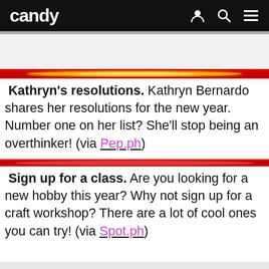candy
[Figure (illustration): Decorative red and gold horizontal divider bar with glowing center]
Kathryn's resolutions. Kathryn Bernardo shares her resolutions for the new year. Number one on her list? She'll stop being an overthinker! (via Pep.ph)
[Figure (illustration): Decorative red horizontal divider bar]
Sign up for a class. Are you looking for a new hobby this year? Why not sign up for a craft workshop? There are a lot of cool ones you can try! (via Spot.ph)